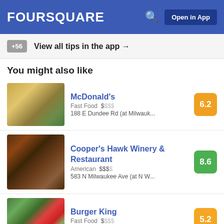FOURSQUARE  Open in App
+56  View all tips in the app →
You might also like
McDonald's | Fast Food $$$$ | 188 E Dundee Rd (at Milwauk... | 6.2
Cooper's Hawk Winery & Restaurant | American $$$$ | 583 N Milwaukee Ave (at N W... | 8.6
Burger King | Fast Food $$$$ | 425 W Dundee Rd | 5.2
Related Searches
superdawg drive-in wheeling • superdawg drive-in wheeling photos • superdawg drive-in wheeling location • superdawg drive-in wheeling